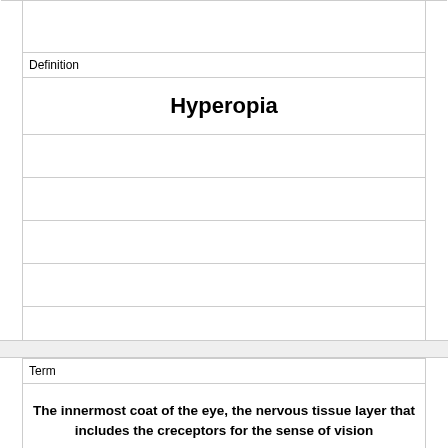Definition
Hyperopia
Term
The innermost coat of the eye, the nervous tissue layer that includes the creceptors for the sense of vision